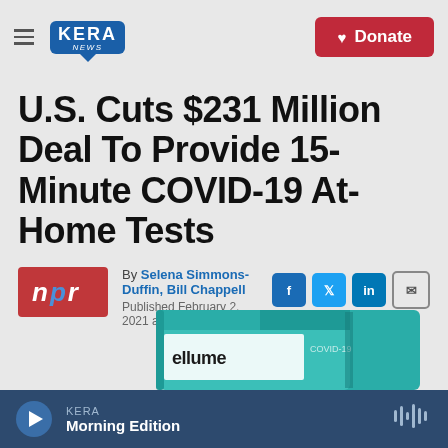KERA NEWS | Donate
U.S. Cuts $231 Million Deal To Provide 15-Minute COVID-19 At-Home Tests
By Selena Simmons-Duffin, Bill Chappell
Published February 2, 2021 at 3:00 PM CST
[Figure (photo): Ellume COVID-19 at-home test box product image, teal/green packaging partially visible at bottom of page]
KERA Morning Edition